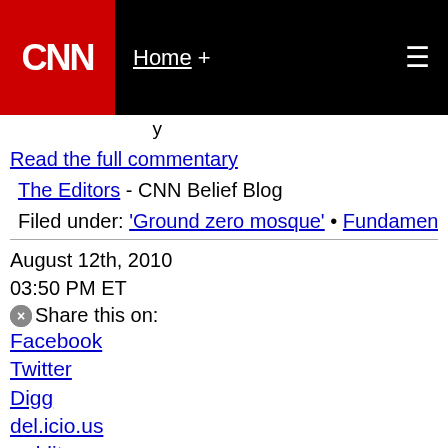CNN - Home +
Read the full commentary
The Editors - CNN Belief Blog
Filed under: 'Ground zero mosque' • Fundamentalism • Isla
August 12th, 2010
03:50 PM ET
Share this on:
Facebook
Twitter
Digg
del.icio.us
reddit
MySpace
StumbleUpon
Comments (3 comments)